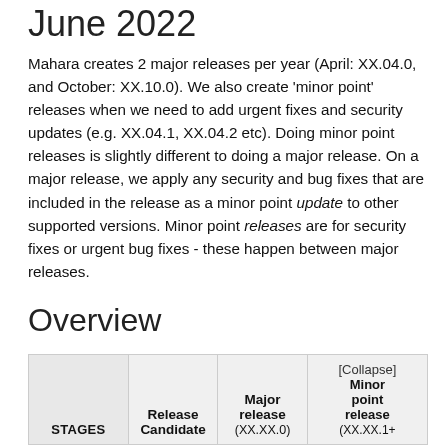June 2022
Mahara creates 2 major releases per year (April: XX.04.0, and October: XX.10.0). We also create 'minor point' releases when we need to add urgent fixes and security updates (e.g. XX.04.1, XX.04.2 etc). Doing minor point releases is slightly different to doing a major release. On a major release, we apply any security and bug fixes that are included in the release as a minor point update to other supported versions. Minor point releases are for security fixes or urgent bug fixes - these happen between major releases.
Overview
| STAGES | Release Candidate | Major release
(XX.XX.0) | [Collapse]
Minor point release
(XX.XX.1+) |
| --- | --- | --- | --- |